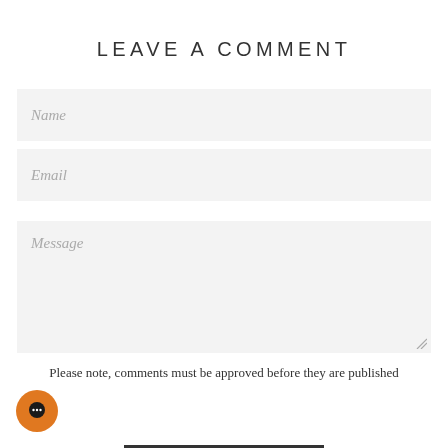LEAVE A COMMENT
Name
Email
Message
Please note, comments must be approved before they are published